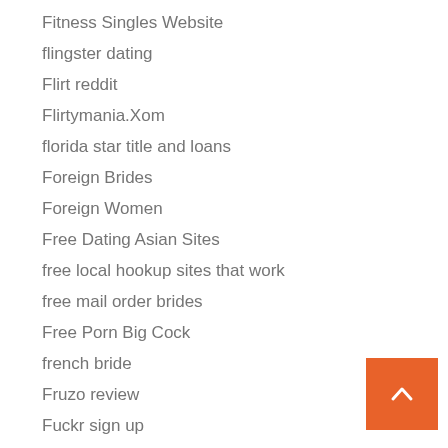Fitness Singles Website
flingster dating
Flirt reddit
Flirtymania.Xom
florida star title and loans
Foreign Brides
Foreign Women
Free Dating Asian Sites
free local hookup sites that work
free mail order brides
Free Porn Big Cock
french bride
Fruzo review
Fuckr sign up
G33kdating preise